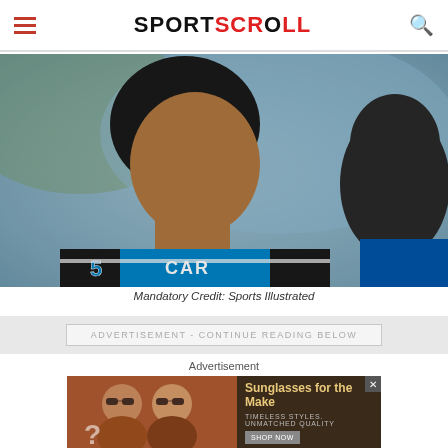SPORTSCROLL
[Figure (photo): Close-up photo of an NFL player wearing a black skullcap and blue Carolina Panthers jersey, looking serious, with another player partially visible in the background]
Mandatory Credit: Sports Illustrated
ADVERTISEMENT - CONTINUE READING BELOW
Advertisement
[Figure (photo): Advertisement showing two women wearing sunglasses with text 'Sunglasses for the Make', 'TIMELESS STYLES. UNMATCHED QUALITY', and a 'SHOP NOW' button]